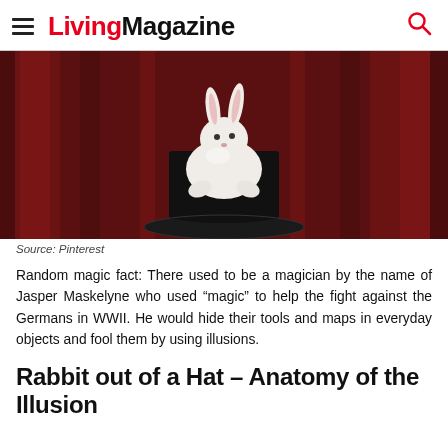LivingMagazine
[Figure (photo): White rabbit sitting on top of a black magician's hat, against a dark red curtain background]
Source: Pinterest
Random magic fact: There used to be a magician by the name of Jasper Maskelyne who used “magic” to help the fight against the Germans in WWII. He would hide their tools and maps in everyday objects and fool them by using illusions.
Rabbit out of a Hat – Anatomy of the Illusion